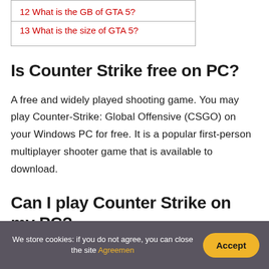12 What is the GB of GTA 5?
13 What is the size of GTA 5?
Is Counter Strike free on PC?
A free and widely played shooting game. You may play Counter-Strike: Global Offensive (CSGO) on your Windows PC for free. It is a popular first-person multiplayer shooter game that is available to download.
Can I play Counter Strike on my PC?
We store cookies: if you do not agree, you can close the site Agreemen